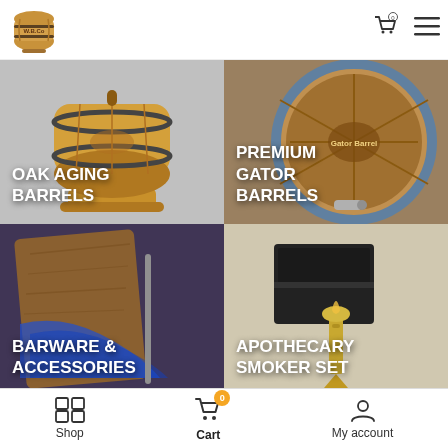Whiskey Barrel Company logo, cart icon, menu icon
[Figure (photo): Oak aging barrel on a wooden stand, classic whiskey barrel shape with metal hoops, on gray background]
OAK AGING BARRELS
[Figure (photo): Premium Gator Barrels — close-up of barrel end with branded logo, metal hoops, spigot, in warm tones]
PREMIUM GATOR BARRELS
[Figure (photo): Barware and accessories — wooden and resin decorative board, blue epoxy accent]
BARWARE & ACCESSORIES
[Figure (photo): Apothecary smoker set — black box with gold smoker tool on light background]
APOTHECARY SMOKER SET
Shop | Cart (0) | My account